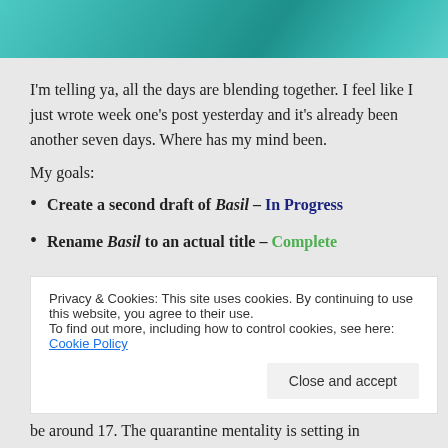[Figure (photo): Teal/turquoise decorative banner image with writing-related decorative elements]
I'm telling ya, all the days are blending together. I feel like I just wrote week one's post yesterday and it's already been another seven days. Where has my mind been.
My goals:
Create a second draft of Basil – In Progress
Rename Basil to an actual title – Complete
Privacy & Cookies: This site uses cookies. By continuing to use this website, you agree to their use.
To find out more, including how to control cookies, see here: Cookie Policy
be around 17. The quarantine mentality is setting in